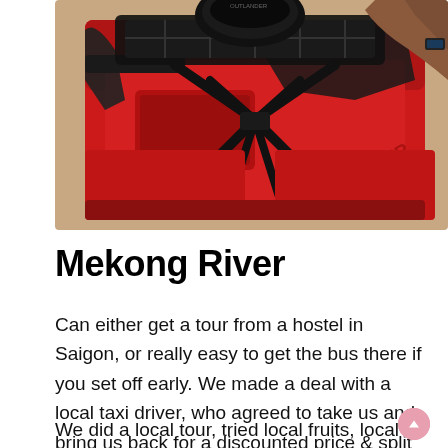[Figure (photo): Close-up photo of a red ATV/quad bike with black handlebars and cargo rack, a person's hand/arm visible in the background holding the handlebars.]
Mekong River
Can either get a tour from a hostel in Saigon, or really easy to get the bus there if you set off early. We made a deal with a local taxi driver, who agreed to take us and bring us back for a discounted price & split between two of us worked out pretty cheap and fast.
We did a local tour, tried local fruits, local